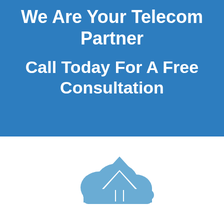We Are Your Telecom Partner
Call Today For A Free Consultation
[Figure (illustration): Cloud upload icon — a blue cloud shape with an upward-pointing arrow inside, rendered in a flat icon style in medium blue on white background]